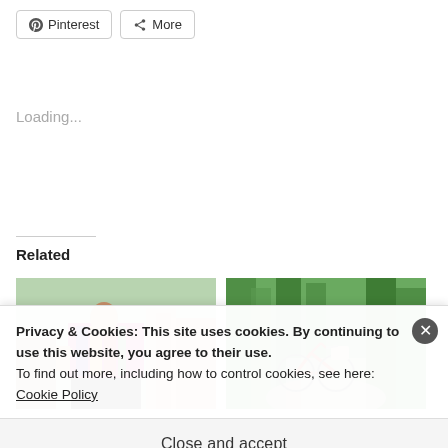[Figure (screenshot): Pinterest share button with Pinterest logo icon]
[Figure (screenshot): More share button with share icon]
Loading...
Related
[Figure (photo): Person in traditional colorful embroidered clothing at an outdoor market or cultural event]
[Figure (photo): Red bicycle with basket parked on a path in a green forested area]
Privacy & Cookies: This site uses cookies. By continuing to use this website, you agree to their use.
To find out more, including how to control cookies, see here: Cookie Policy
Close and accept